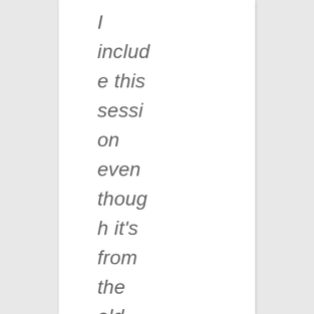I includ e this sessi on even thoug h it's from the old